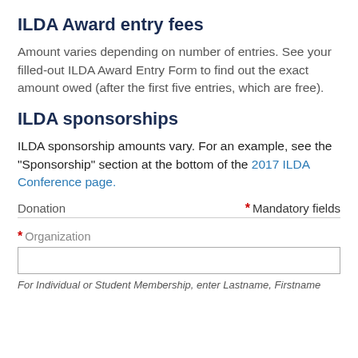ILDA Award entry fees
Amount varies depending on number of entries. See your filled-out ILDA Award Entry Form to find out the exact amount owed (after the first five entries, which are free).
ILDA sponsorships
ILDA sponsorship amounts vary. For an example, see the "Sponsorship" section at the bottom of the 2017 ILDA Conference page.
Donation   * Mandatory fields
* Organization
For Individual or Student Membership, enter Lastname, Firstname